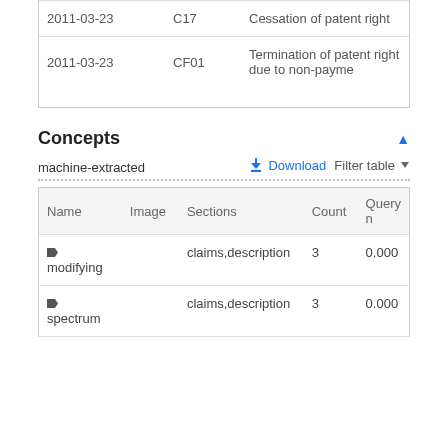| 2011-03-23 | C17 | Cessation of patent right |
| 2011-03-23 | CF01 | Termination of patent right due to non-payme |
Concepts
machine-extracted
| Name | Image | Sections | Count | Query n |
| --- | --- | --- | --- | --- |
| modifying |  | claims,description | 3 | 0.000 |
| spectrum |  | claims,description | 3 | 0.000 |